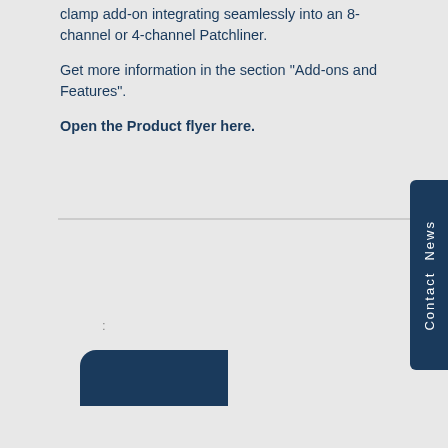clamp add-on integrating seamlessly into an 8-channel or 4-channel Patchliner.
Get more information in the section "Add-ons and Features".
Open the Product flyer here.
:
[Figure (other): Dark navy blue rounded-corner button/banner element]